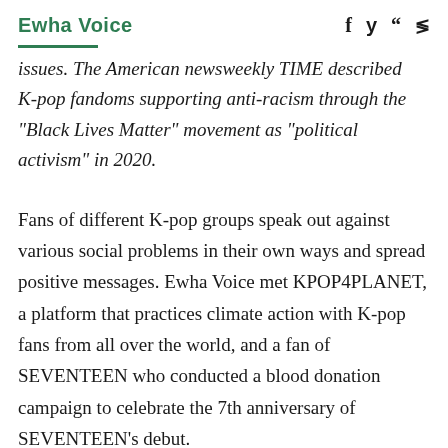Ewha Voice
issues. The American newsweekly TIME described K-pop fandoms supporting anti-racism through the “Black Lives Matter” movement as “political activism” in 2020.
Fans of different K-pop groups speak out against various social problems in their own ways and spread positive messages. Ewha Voice met KPOP4PLANET, a platform that practices climate action with K-pop fans from all over the world, and a fan of SEVENTEEN who conducted a blood donation campaign to celebrate the 7th anniversary of SEVENTEEN’s debut.